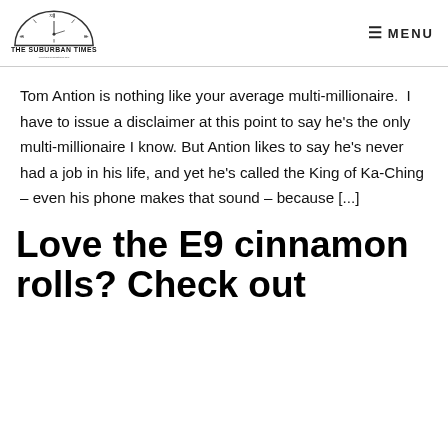THE SUBURBAN TIMES — MENU
Tom Antion is nothing like your average multi-millionaire.  I have to issue a disclaimer at this point to say he's the only multi-millionaire I know. But Antion likes to say he's never had a job in his life, and yet he's called the King of Ka-Ching – even his phone makes that sound – because [...]
Love the E9 cinnamon rolls? Check out